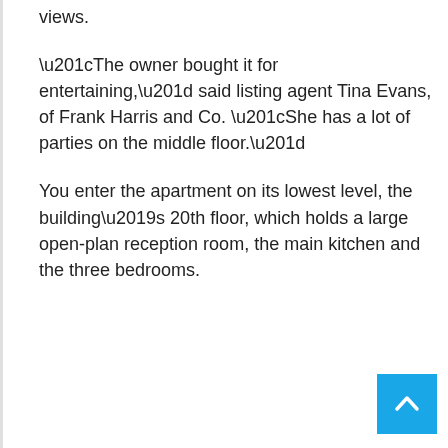views.
“The owner bought it for entertaining,” said listing agent Tina Evans, of Frank Harris and Co. “She has a lot of parties on the middle floor.”
You enter the apartment on its lowest level, the building’s 20th floor, which holds a large open-plan reception room, the main kitchen and the three bedrooms.